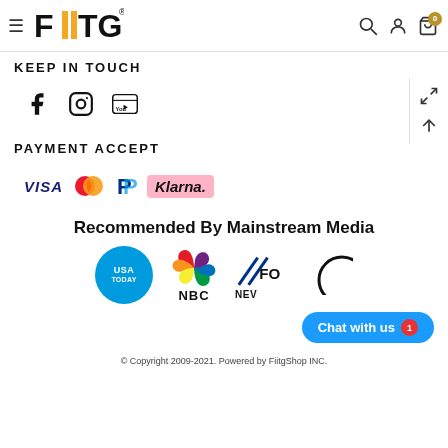[Figure (logo): FIITG logo navigation bar with hamburger menu, search, account, and cart icons]
KEEP IN TOUCH
[Figure (infographic): Social media icons: Facebook, Instagram, YouTube]
PAYMENT ACCEPT
[Figure (infographic): Payment logos: VISA, Mastercard, PayPal, Klarna]
Recommended By Mainstream Media
[Figure (infographic): Media logos: USA TODAY, NBC, FOX NEWS, and partially visible logo]
[Figure (other): Chat with us button with badge showing 1]
© Copyright 2009-2021. Powered by FiitgShop INC.